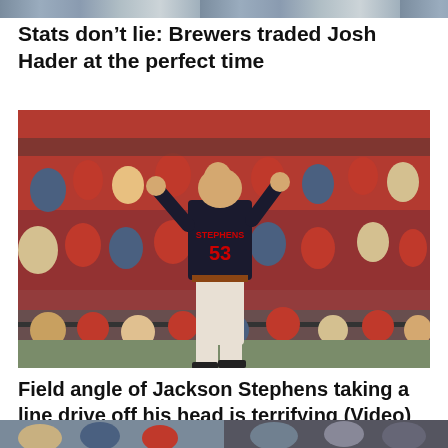[Figure (photo): Partial view of a baseball/sports scene at the top of the page, cropped]
Stats don’t lie: Brewers traded Josh Hader at the perfect time
[Figure (photo): Baseball player with jersey STEPHENS #53 jumping or reacting on the field, crowd in red seats behind him]
Field angle of Jackson Stephens taking a line drive off his head is terrifying (Video)
[Figure (photo): Two partial thumbnail images at the bottom of the page]